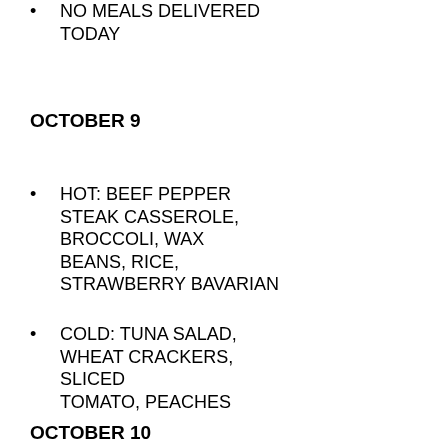NO MEALS DELIVERED TODAY
OCTOBER 9
HOT: BEEF PEPPER STEAK CASSEROLE, BROCCOLI, WAX BEANS, RICE, STRAWBERRY BAVARIAN
COLD: TUNA SALAD, WHEAT CRACKERS, SLICED TOMATO, PEACHES
OCTOBER 10